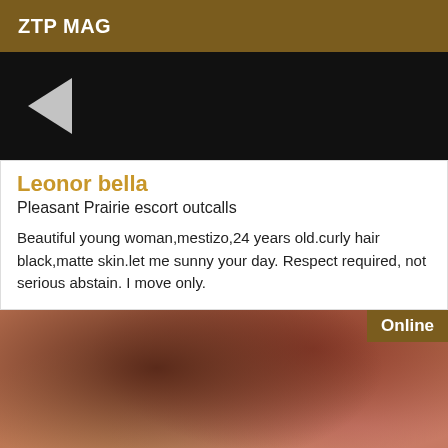ZTP MAG
[Figure (photo): Dark image area with a left-pointing play/back arrow on black background]
Leonor bella
Pleasant Prairie escort outcalls
Beautiful young woman,mestizo,24 years old.curly hair black,matte skin.let me sunny your day. Respect required, not serious abstain. I move only.
[Figure (photo): Close-up photo of a woman's face showing lips and hair, with an 'Online' badge in the top-right corner]